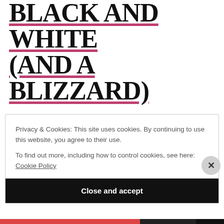BLACK AND WHITE (AND A BLIZZARD)
NEXT POST
MIX AND MATCH
Privacy & Cookies: This site uses cookies. By continuing to use this website, you agree to their use.
To find out more, including how to control cookies, see here: Cookie Policy
Close and accept